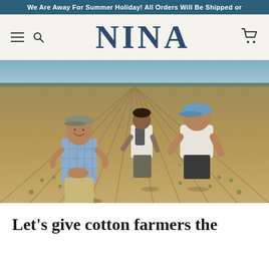We Are Away For Summer Holiday! All Orders Will Be Shipped or
NINA
[Figure (photo): Three men standing in a cotton farm field with rows of young plants. The man in the foreground wears a plaid shirt and grey cap and is smiling. Two men stand behind him, one in a white t-shirt with a backpack, and one in a white t-shirt and blue cap.]
Let's give cotton farmers the